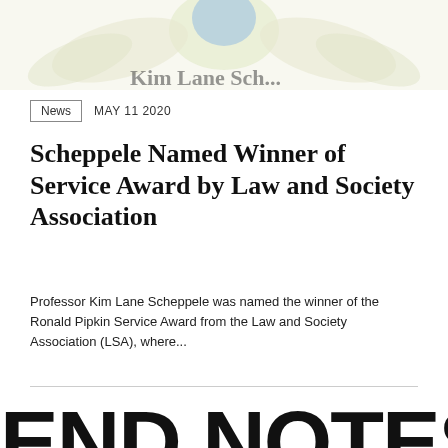[Figure (photo): Partial view of a law school logo/seal with decorative floral elements and a person's partial name visible]
News   MAY 11 2020
Scheppele Named Winner of Service Award by Law and Society Association
Professor Kim Lane Scheppele was named the winner of the Ronald Pipkin Service Award from the Law and Society Association (LSA), where...
END NOTES